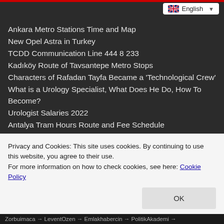Ankara Metro Stations Time and Map
New Opel Astra in Turkey
TCDD Communication Line 444 8 233
Kadıköy Route of Tavsantepe Metro Stops
Characters of Rafadan Tayfa Became a 'Technological Crew'
What is a Urology Specialist, What Does He Do, How To Become?
Urologist Salaries 2022
Antalya Tram Hours Route and Fee Schedule
Map of TCDD High Speed Train
Istanbul Metro and Metrobus Lines Metrobus Stations Metro Station Names
Additional Expert Report Reached the Court in Çorlu Train Disaster: Who are the Original Defects?
Privacy and Cookies: This site uses cookies. By continuing to use this website, you agree to their use.
For more information on how to check cookies, see here: Cookie Policy
Zorbuimaca → LeventOzen → Emlakhabercin → PolitikAkademi →